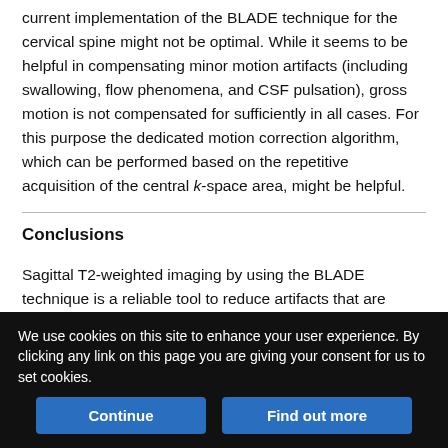current implementation of the BLADE technique for the cervical spine might not be optimal. While it seems to be helpful in compensating minor motion artifacts (including swallowing, flow phenomena, and CSF pulsation), gross motion is not compensated for sufficiently in all cases. For this purpose the dedicated motion correction algorithm, which can be performed based on the repetitive acquisition of the central k-space area, might be helpful.
Conclusions
Sagittal T2-weighted imaging by using the BLADE technique is a reliable tool to reduce artifacts that are typically seen in MR imaging of the cervical spine in a routine patient collective. Applying a BLADE
We use cookies on this site to enhance your user experience. By clicking any link on this page you are giving your consent for us to set cookies.